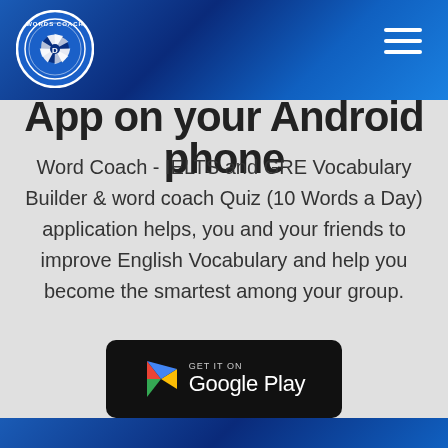[Figure (logo): Words Coach circular logo with camera shutter icon in blue and white]
App on your Android phone
Word Coach - IELTS and GRE Vocabulary Builder & word coach Quiz (10 Words a Day) application helps, you and your friends to improve English Vocabulary and help you become the smartest among your group.
[Figure (other): Get it on Google Play button with Play Store logo triangle icon]